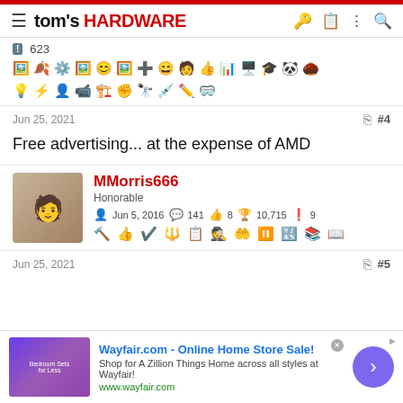tom's HARDWARE
623
Jun 25, 2021  #4
Free advertising... at the expense of AMD
MMorris666 Honorable Jun 5, 2016 141 8 10,715 9
Jun 25, 2021  #5
[Figure (screenshot): Wayfair.com advertisement banner: Online Home Store Sale! Shop for A Zillion Things Home across all styles at Wayfair! www.wayfair.com]